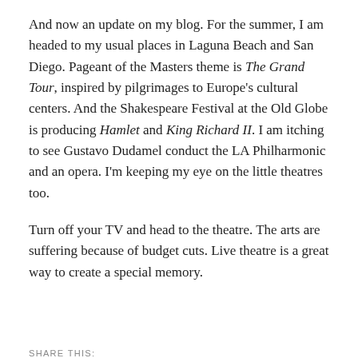And now an update on my blog. For the summer, I am headed to my usual places in Laguna Beach and San Diego. Pageant of the Masters theme is The Grand Tour, inspired by pilgrimages to Europe's cultural centers. And the Shakespeare Festival at the Old Globe is producing Hamlet and King Richard II. I am itching to see Gustavo Dudamel conduct the LA Philharmonic and an opera. I'm keeping my eye on the little theatres too.
Turn off your TV and head to the theatre. The arts are suffering because of budget cuts. Live theatre is a great way to create a special memory.
SHARE THIS:
[Figure (other): Social share buttons: Twitter (blue circle), Facebook (blue circle), Pinterest (red circle), and a More button with a less-than sign icon.]